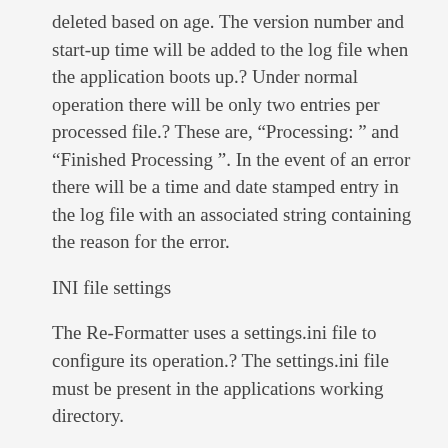deleted based on age. The version number and start-up time will be added to the log file when the application boots up.? Under normal operation there will be only two entries per processed file.? These are, “Processing: ” and “Finished Processing ”. In the event of an error there will be a time and date stamped entry in the log file with an associated string containing the reason for the error.
INI file settings
The Re-Formatter uses a settings.ini file to configure its operation.? The settings.ini file must be present in the applications working directory.
The entries are as follows:
Heading:?[Paths]